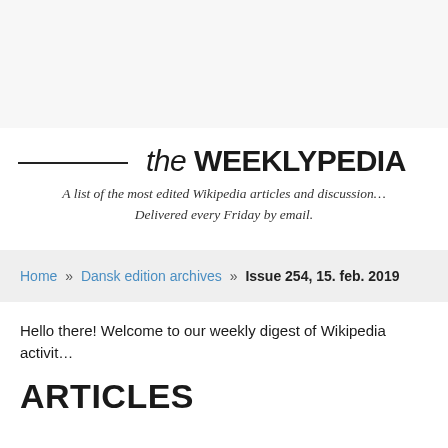the WEEKLYPEDIA
A list of the most edited Wikipedia articles and discussions. Delivered every Friday by email.
Home » Dansk edition archives » Issue 254, 15. feb. 2019
Hello there! Welcome to our weekly digest of Wikipedia activit…
ARTICLES